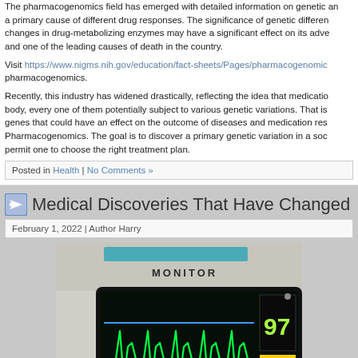The pharmacogenomics field has emerged with detailed information on genetic and a primary cause of different drug responses. The significance of genetic differences changes in drug-metabolizing enzymes may have a significant effect on its adverse and one of the leading causes of death in the country.
Visit https://www.nigms.nih.gov/education/fact-sheets/Pages/pharmacogenomics pharmacogenomics.
Recently, this industry has widened drastically, reflecting the idea that medications body, every one of them potentially subject to various genetic variations. That is genes that could have an effect on the outcome of diseases and medication responses. Pharmacogenomics. The goal is to discover a primary genetic variation in a social permit one to choose the right treatment plan.
Posted in Health | No Comments »
Medical Discoveries That Have Changed
February 1, 2022 | Author Harry
[Figure (photo): Close-up photo of a medical patient monitor showing green ECG waveform and number 97 on a dark screen, with the word MONITOR visible on the device casing.]